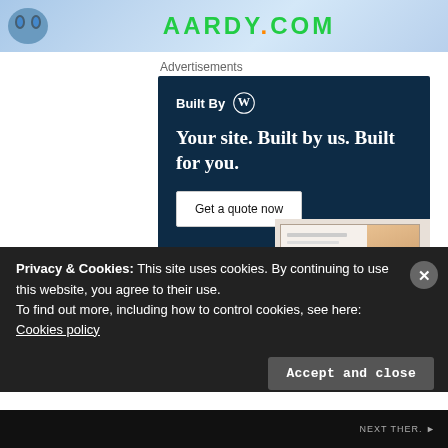[Figure (illustration): Top banner advertisement for AARDY.COM with blue gradient background and teal/green logo text]
Advertisements
[Figure (screenshot): WordPress advertisement: Built By WordPress logo. Headline: Your site. Built by us. Built for you. Button: Get a quote now. Shows website mockup screenshots on right side with dark navy background.]
Privacy & Cookies: This site uses cookies. By continuing to use this website, you agree to their use.
To find out more, including how to control cookies, see here: Cookies policy
Accept and close